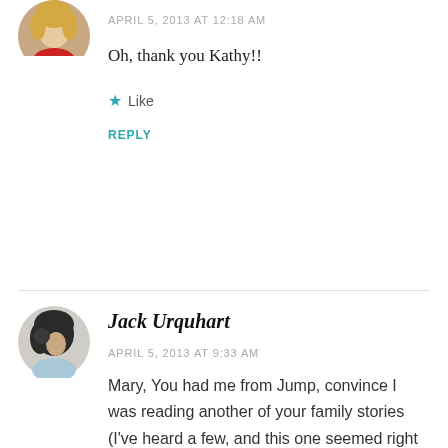[Figure (photo): Circular avatar photo of a woman with blonde hair wearing red, partially cropped at top]
APRIL 5, 2013 AT 12:18 AM
Oh, thank you Kathy!!
★ Like
REPLY
[Figure (photo): Circular avatar photo of a person with dark hair, viewed from behind/side]
Jack Urquhart
APRIL 5, 2013 AT 9:33 AM
Mary, You had me from Jump, convince I was reading another of your family stories (I've heard a few, and this one seemed right at home among them :-) Lovely writing, My Dear, Lovely